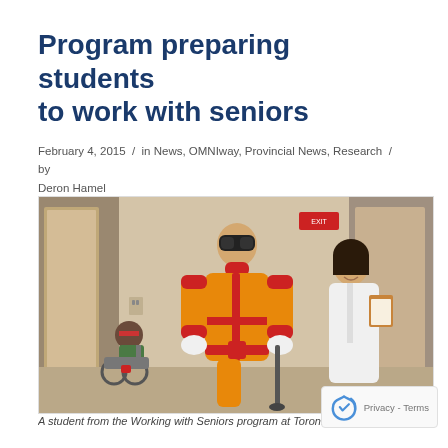Program preparing students to work with seniors
February 4, 2015 / in News, OMNIway, Provincial News, Research / by Deron Hamel
[Figure (photo): A student wearing an orange and red age simulation suit with dark goggles walks down a hallway. A woman in a white lab coat holds a clipboard in the background. Another person in a wheelchair is visible on the left.]
A student from the Working with Seniors program at Toronto's Michener Institute